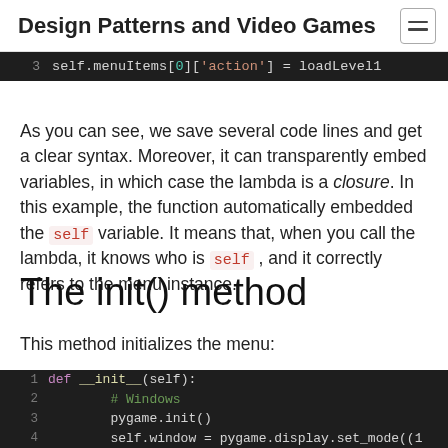Design Patterns and Video Games
[Figure (screenshot): Code snippet line 3: self.menuItems[0]['action'] = loadLevel1]
As you can see, we save several code lines and get a clear syntax. Moreover, it can transparently embed variables, in which case the lambda is a closure. In this example, the function automatically embedded the self variable. It means that, when you call the lambda, it knows who is self, and it correctly refers to the menu instance.
The init() method
This method initializes the menu:
[Figure (screenshot): Code block showing def __init__(self): with lines: # Windows, pygame.init(), self.window = pygame.display.set_mode((1...]